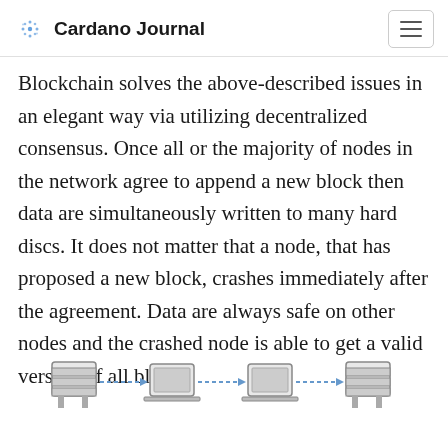Cardano Journal
Blockchain solves the above-described issues in an elegant way via utilizing decentralized consensus. Once all or the majority of nodes in the network agree to append a new block then data are simultaneously written to many hard discs. It does not matter that a node, that has proposed a new block, crashes immediately after the agreement. Data are always safe on other nodes and the crashed node is able to get a valid version of all blocks.
[Figure (illustration): Diagram showing a chain of computer/server nodes connected by arrows, representing a blockchain network]